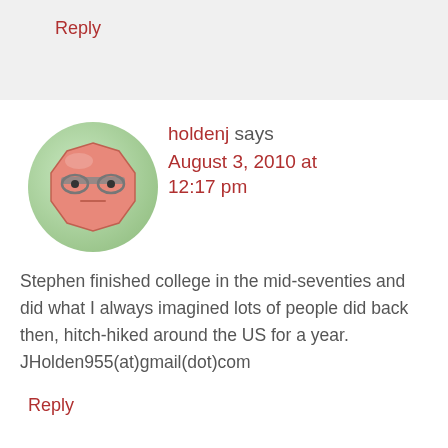Reply
[Figure (illustration): Avatar icon of a cartoon face with glasses, reddish octagon shape, on a green circular background]
holdenj says August 3, 2010 at 12:17 pm
Stephen finished college in the mid-seventies and did what I always imagined lots of people did back then, hitch-hiked around the US for a year. JHolden955(at)gmail(dot)com
Reply